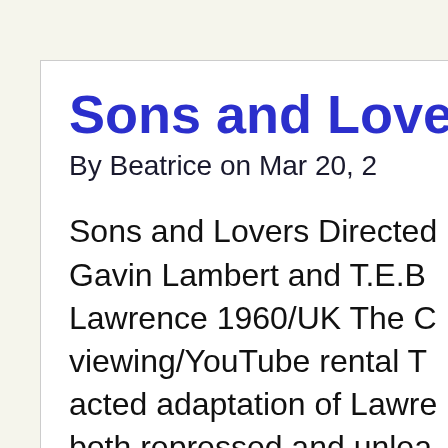Sons and Lovers
By Beatrice on Mar 20, 2…
Sons and Lovers Directed… Gavin Lambert and T.E.B… Lawrence 1960/UK The C… viewing/YouTube rental T… acted adaptation of Lawr… both repressed and unlea…